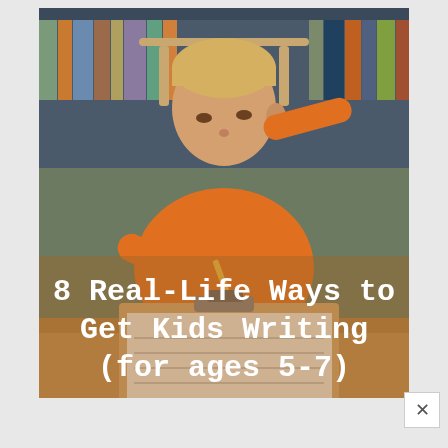[Figure (photo): A young child wearing an orange shirt, sitting at a wooden table, writing on a clipboard with a pencil. Bookshelves are visible in the background. Overlay text reads: '8 Real-Life Ways to Get Kids Writing (for ages 5-7)']